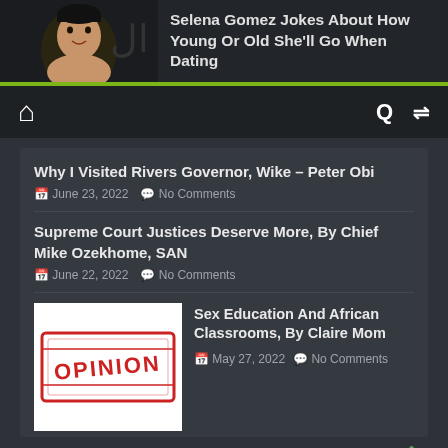[Figure (photo): Top banner showing a celebrity photo (Selena Gomez) with article headline to the right]
Selena Gomez Jokes About How Young Or Old She'll Go When Dating
Home icon, Search icon, Shuffle icon navigation bar
Why I Visited Rivers Governor, Wike – Peter Obi
June 23, 2022   No Comments
Supreme Court Justices Deserve More, By Chief Mike Ozekhome, SAN
June 22, 2022   No Comments
[Figure (illustration): Red stamp-style OPINION graphic on white background]
Sex Education And African Classrooms, By Claire Mom
May 27, 2022   No Comments
Technology
View All